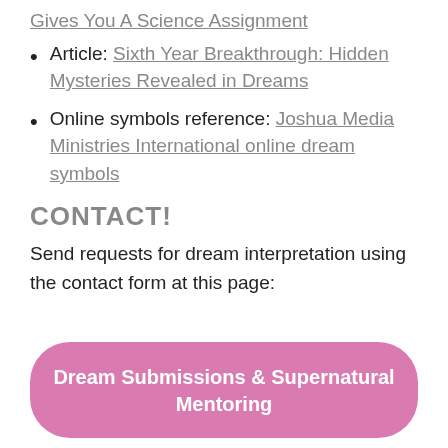Gives You A Science Assignment
Article: Sixth Year Breakthrough: Hidden Mysteries Revealed in Dreams
Online symbols reference: Joshua Media Ministries International online dream symbols
CONTACT!
Send requests for dream interpretation using the contact form at this page:
[Figure (other): Pink rounded button labeled 'Dream Submissions & Supernatural Mentoring']